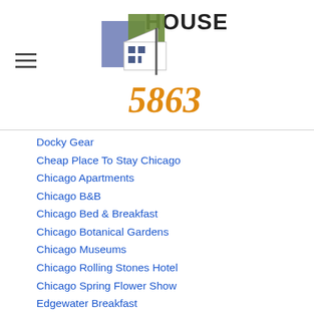HOUSE 5863 logo with navigation menu icon
Docky Gear
Cheap Place To Stay Chicago
Chicago Apartments
Chicago B&B
Chicago Bed & Breakfast
Chicago Botanical Gardens
Chicago Museums
Chicago Rolling Stones Hotel
Chicago Spring Flower Show
Edgewater Breakfast
Edgewater Lounge
Event Space In Andersonville
Google Inactive Account Manager
Guest Thank You's
Hotel Safety
Hotels Aragon Chicago
Hotels Edgewater Uptown Andesonville
Hotels Near Chicago (partial, cut off)